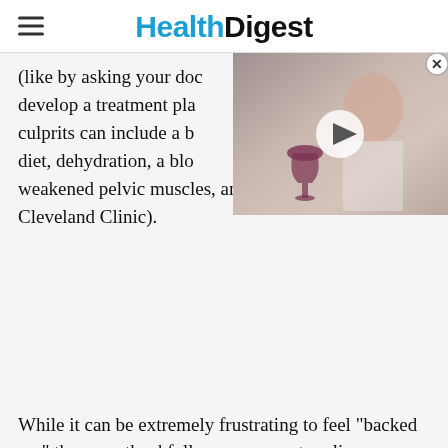HealthDigest
(like by asking your doctor to develop a treatment plan). The culprits can include a bad diet, dehydration, a blocked, weakened pelvic muscles, and more (via Cleveland Clinic).
[Figure (photo): Video thumbnail showing a woman with red wine glass, with a play button overlay and close button]
While it can be extremely frustrating to feel "backed up," there are thankfully many ways to relieve constipation. Starting with your diet is one of the easiest and most affordable of them all. It certainly makes sense that what we put into our bodies will affect the way things move out, after all. Continue reading to discover 13 of the best